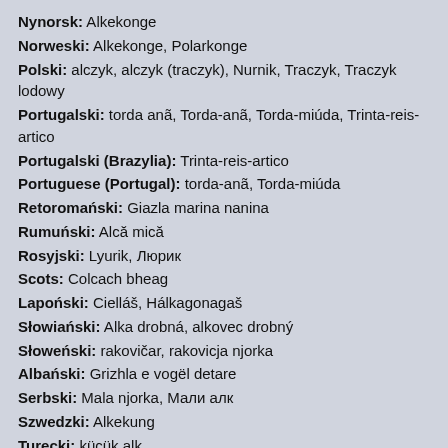Nynorsk: Alkekonge
Norweski: Alkekonge, Polarkonge
Polski: alczyk, alczyk (traczyk), Nurnik, Traczyk, Traczyk lodowy
Portugalski: torda anã, Torda-anã, Torda-miúda, Trinta-reis-artico
Portugalski (Brazylia): Trinta-reis-artico
Portuguese (Portugal): torda-anã, Torda-miúda
Retoromański: Giazla marina nanina
Rumuński: Alcă mică
Rosyjski: Lyurik, Люрик
Scots: Colcach bheag
Lapoński: Cielláš, Hálkagonagaš
Słowiański: Alka drobná, alkovec drobný
Słoweński: rakovičar, rakovicja njorka
Albański: Grizhla e vogël detare
Serbski: Mala njorka, Мали алк
Szwedzki: Alkekung
Turecki: küçük alk